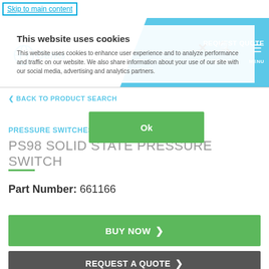Skip to main content
REQUEST QUOTE | SEARCH | MENU
This website uses cookies
This website uses cookies to enhance user experience and to analyze performance and traffic on our website. We also share information about your use of our site with our social media, advertising and analytics partners.
Ok
BACK TO PRODUCT SEARCH
PRESSURE SWITCHES & TRANSDUCERS
PS98 SOLID STATE PRESSURE SWITCH
Part Number: 661166
BUY NOW
REQUEST A QUOTE